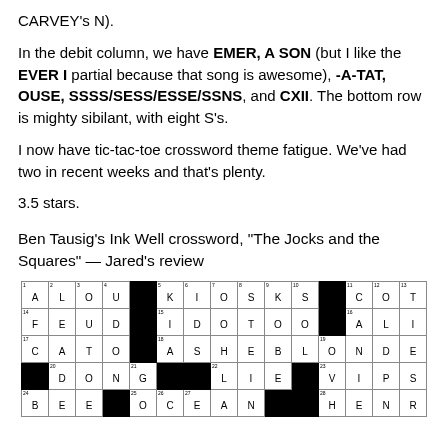CARVEY's N).
In the debit column, we have EMER, A SON (but I like the EVER I partial because that song is awesome), -A-TAT, OUSE, SSSS/SESS/ESSE/SSNS, and CXII. The bottom row is mighty sibilant, with eight S's.
I now have tic-tac-toe crossword theme fatigue. We've had two in recent weeks and that's plenty.
3.5 stars.
Ben Tausig's Ink Well crossword, “The Jocks and the Squares” — Jared’s review
[Figure (other): Partial crossword grid showing rows with letters: A L O U / K I O S K S / C O T, F E U D / I D O T O O / A L I, C A T O / A S H E B L O N D E, D O N G / L I E / V I P S, B E E / O C E A N / H E N R I]